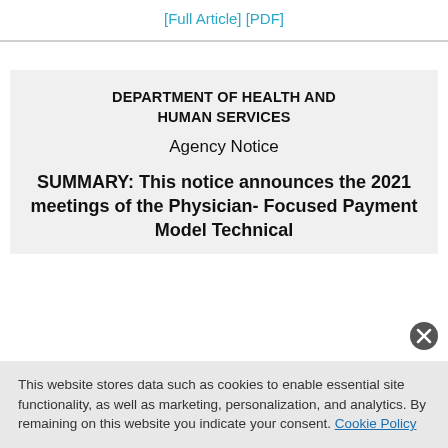[Full Article] [PDF]
DEPARTMENT OF HEALTH AND HUMAN SERVICES
Agency Notice
SUMMARY: This notice announces the 2021 meetings of the Physician- Focused Payment Model Technical
This website stores data such as cookies to enable essential site functionality, as well as marketing, personalization, and analytics. By remaining on this website you indicate your consent. Cookie Policy